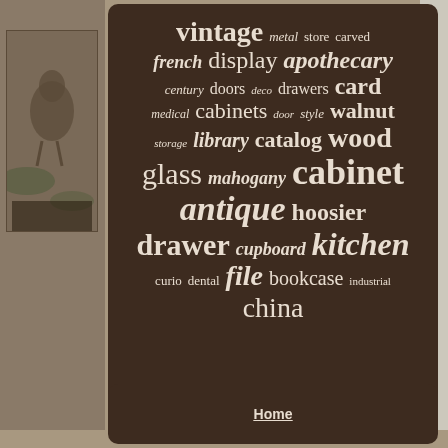[Figure (infographic): Word cloud on dark brown background featuring antique/vintage cabinet-related keywords in various font sizes. Largest words include cabinet, antique, drawer, kitchen, wood. Other words: vintage, metal, store, carved, french, display, apothecary, century, doors, deco, drawers, card, medical, cabinets, door, style, walnut, storage, library, catalog, glass, mahogany, hoosier, cupboard, curio, dental, file, bookcase, industrial, china.]
Home